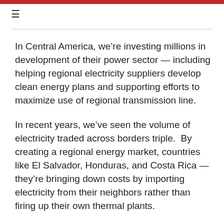≡
In Central America, we're investing millions in development of their power sector — including helping regional electricity suppliers develop clean energy plans and supporting efforts to maximize use of regional transmission line.
In recent years, we've seen the volume of electricity traded across borders triple.  By creating a regional energy market, countries like El Salvador, Honduras, and Costa Rica — they're bringing down costs by importing electricity from their neighbors rather than firing up their own thermal plants.
This is critical because if Central American nations work together, the region can be a conduit that ties together the